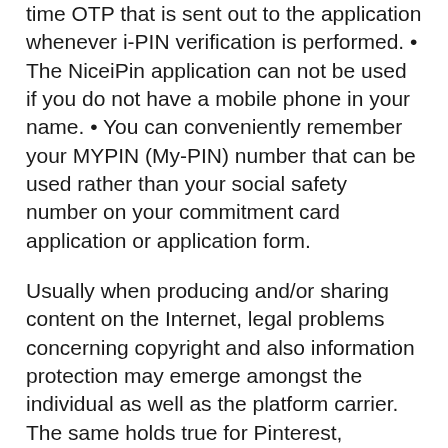time OTP that is sent out to the application whenever i-PIN verification is performed. • The NiceiPin application can not be used if you do not have a mobile phone in your name. • You can conveniently remember your MYPIN (My-PIN) number that can be used rather than your social safety number on your commitment card application or application form.
Usually when producing and/or sharing content on the Internet, legal problems concerning copyright and also information protection may emerge amongst the individual as well as the platform carrier. The same holds true for Pinterest, particularly when thinking about that the highlight [링크 텍스트] of the service is the possibility to re-pin material from outside Internet site and also from other users (i.e., somebody else's development). It is